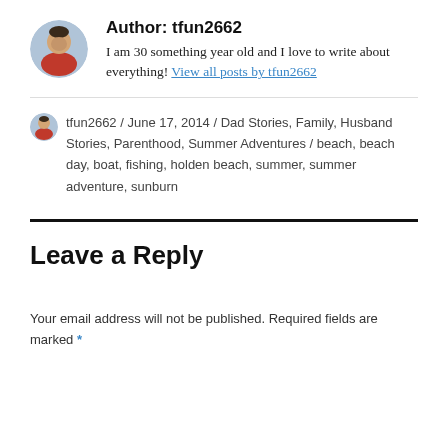[Figure (photo): Circular avatar photo of a man in a red hoodie]
Author: tfun2662
I am 30 something year old and I love to write about everything! View all posts by tfun2662
tfun2662 / June 17, 2014 / Dad Stories, Family, Husband Stories, Parenthood, Summer Adventures / beach, beach day, boat, fishing, holden beach, summer, summer adventure, sunburn
Leave a Reply
Your email address will not be published. Required fields are marked *